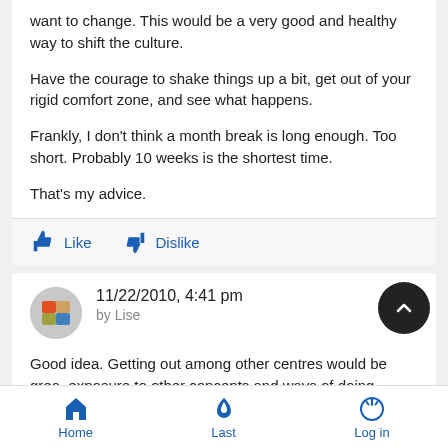want to change. This would be a very good and healthy way to shift the culture.
Have the courage to shake things up a bit, get out of your rigid comfort zone, and see what happens.
Frankly, I don't think a month break is long enough. Too short. Probably 10 weeks is the shortest time.
That's my advice.
11/22/2010, 4:41 pm
by Lise
Good idea. Getting out among other centres would be great exposure to other concepts and ways of doing things.
Home  Last  Log in